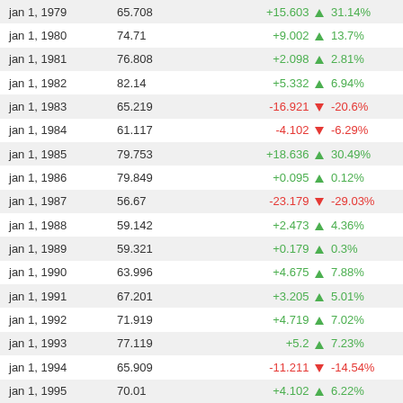| Date | Value | Change | % Change |
| --- | --- | --- | --- |
| jan 1, 1979 | 65.708 | +15.603 ▲ | 31.14% |
| jan 1, 1980 | 74.71 | +9.002 ▲ | 13.7% |
| jan 1, 1981 | 76.808 | +2.098 ▲ | 2.81% |
| jan 1, 1982 | 82.14 | +5.332 ▲ | 6.94% |
| jan 1, 1983 | 65.219 | -16.921 ▼ | -20.6% |
| jan 1, 1984 | 61.117 | -4.102 ▼ | -6.29% |
| jan 1, 1985 | 79.753 | +18.636 ▲ | 30.49% |
| jan 1, 1986 | 79.849 | +0.095 ▲ | 0.12% |
| jan 1, 1987 | 56.67 | -23.179 ▼ | -29.03% |
| jan 1, 1988 | 59.142 | +2.473 ▲ | 4.36% |
| jan 1, 1989 | 59.321 | +0.179 ▲ | 0.3% |
| jan 1, 1990 | 63.996 | +4.675 ▲ | 7.88% |
| jan 1, 1991 | 67.201 | +3.205 ▲ | 5.01% |
| jan 1, 1992 | 71.919 | +4.719 ▲ | 7.02% |
| jan 1, 1993 | 77.119 | +5.2 ▲ | 7.23% |
| jan 1, 1994 | 65.909 | -11.211 ▼ | -14.54% |
| jan 1, 1995 | 70.01 | +4.102 ▲ | 6.22% |